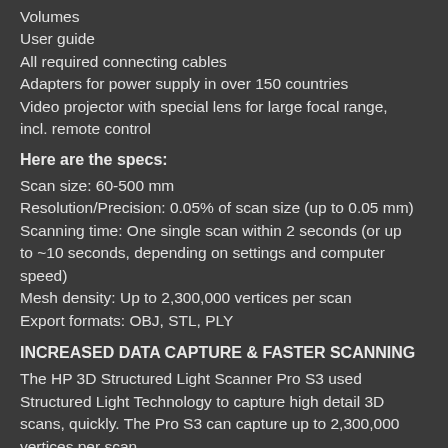Volumes
User guide
All required connecting cables
Adapters for power supply in over 150 countries
Video projector with special lens for large focal range, incl. remote control
Here are the specs:
Scan size: 60-500 mm
Resolution/Precision: 0.05% of scan size (up to 0.05 mm)
Scanning time: One single scan within 2 seconds (or up to ~10 seconds, depending on settings and computer speed)
Mesh density: Up to 2,300,000 vertices per scan
Export formats: OBJ, STL, PLY
INCREASED DATA CAPTURE & FASTER SCANNING
The HP 3D Structured Light Scanner Pro S3 used Structured Light Technology to capture high detail 3D scans, quickly. The Pro S3 can capture up to 2,300,000 vertices per scan.